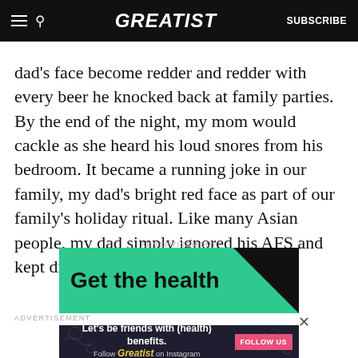GREATIST | SUBSCRIBE
dad’s face become redder and redder with every beer he knocked back at family parties. By the end of the night, my mom would cackle as she heard his loud snores from his bedroom. It became a running joke in our family, my dad’s bright red face as part of our family’s holiday ritual. Like many Asian people, my dad simply ignored his AFS and kept drinking anyway.
ADVERTISEMENT
[Figure (other): Green advertisement banner reading 'Get the health' with black diagonal corner]
ADVERTISEMENT
[Figure (other): Dark advertisement banner: 'Let’s be friends with (health) benefits. Follow GREATIST on Instagram' with pink FOLLOW US button]